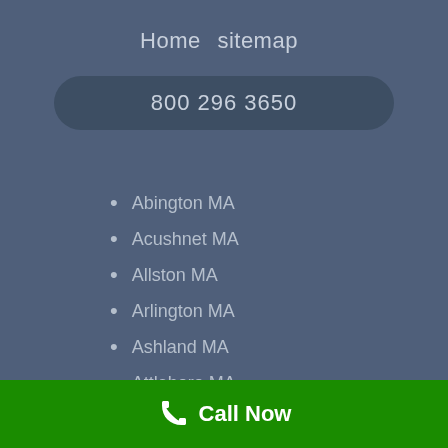Home   sitemap
800 296 3650
Abington MA
Acushnet MA
Allston MA
Arlington MA
Ashland MA
Attleboro MA
Avon MA
Call Now